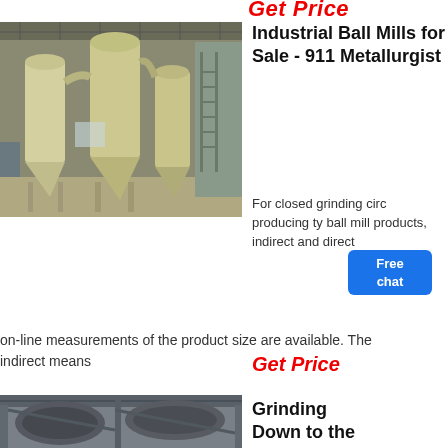Get Price
[Figure (photo): Industrial ball mill equipment inside a large warehouse facility, yellow-painted machinery with cyclone separators and pipes]
Industrial Ball Mills for Sale - 911 Metallurgist
For closed grinding circuit producing types of ball mill products, indirect and direct on-line measurements of the product size are available. The indirect means
Get Price
[Figure (photo): Industrial grinding equipment ceiling view showing large pipes and structural steel in a facility]
Grinding Down to the